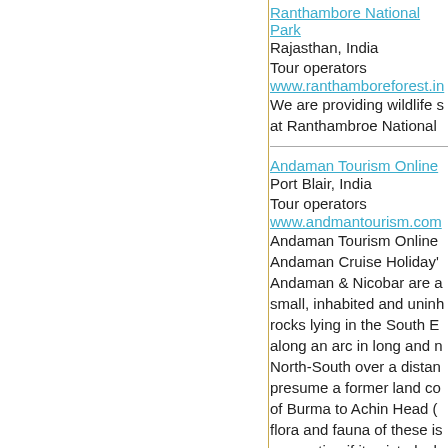Ranthambore National Park
Rajasthan, India
Tour operators
www.ranthamboreforest.in
We are providing wildlife s... at Ranthambroe National...
Andaman Tourism Online
Port Blair, India
Tour operators
www.andmantourism.com
Andaman Tourism Online Andaman Cruise Holiday's Andaman & Nicobar are a small, inhabited and uninh rocks lying in the South E along an arc in long and n North-South over a distan presume a former land co of Burma to Achin Head ( flora and fauna of these is connection if it existed, sh of their present life form. D Distance Area